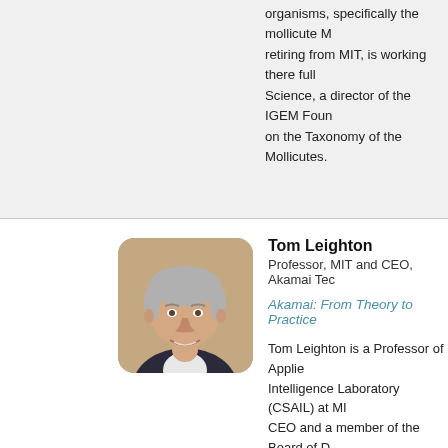organisms, specifically the mollicute M...retiring from MIT, is working there full...Science, a director of the IGEM Foun...on the Taxonomy of the Mollicutes.
[Figure (photo): Headshot of Tom Leighton, a middle-aged man with gray hair, smiling, wearing a suit, with a rounded-corner photo style.]
Tom Leighton
Professor, MIT and CEO, Akamai Tec...
Akamai: From Theory to Practice
Tom Leighton is a Professor of Applie...Intelligence Laboratory (CSAIL) at MI...CEO and a member of the Board of D...
Professor Leighton is a preeminent au...100 papers on algorithms, cryptograp...optimization, and graph theory. He als...algorithms for networks, cryptography...
He received his B.S.E. in Electrical E...in Applied Mathematics from MIT in 1...faculty in 1982, and became Professo...